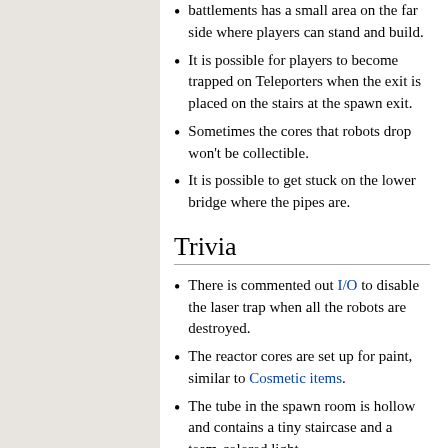battlements has a small area on the far side where players can stand and build.
It is possible for players to become trapped on Teleporters when the exit is placed on the stairs at the spawn exit.
Sometimes the cores that robots drop won't be collectible.
It is possible to get stuck on the lower bridge where the pipes are.
Trivia
There is commented out I/O to disable the laser trap when all the robots are destroyed.
The reactor cores are set up for paint, similar to Cosmetic items.
The tube in the spawn room is hollow and contains a tiny staircase and a team-colored light.
There is an inaccessible closet behind the computer wall next to the gate into